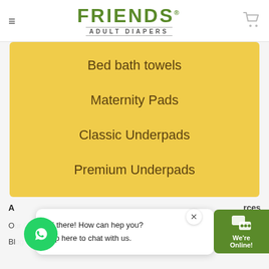FRIENDS ADULT DIAPERS
Bed bath towels
Maternity Pads
Classic Underpads
Premium Underpads
A ... rces
O...mpany   Privacy Policy
Blog   Terms and Condition
Hi there! How can hep you?
Tap here to chat with us.
[Figure (logo): WhatsApp logo button (green circle)]
[Figure (infographic): We're Online! chat widget button (dark green)]